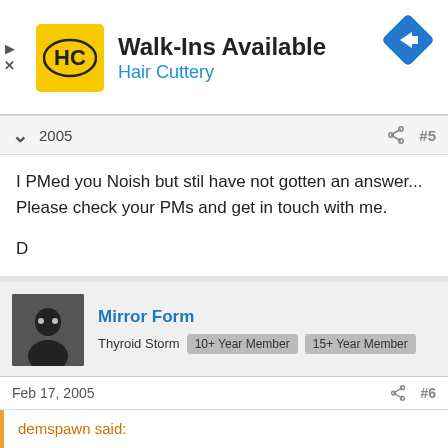[Figure (other): Hair Cuttery advertisement banner with HC logo, 'Walk-Ins Available' text, blue arrow navigation icon]
2005
I PMed you Noish but stil have not gotten an answer...
Please check your PMs and get in touch with me.

D
[Figure (photo): Forum user avatar - silhouette of person in black]
Mirror Form
Thyroid Storm  10+ Year Member  15+ Year Member
Feb 17, 2005
#6
demspawn said:
I PMed you Noish but stil have not gotten an answer...
Please check your PMs and get in touch with me.

D